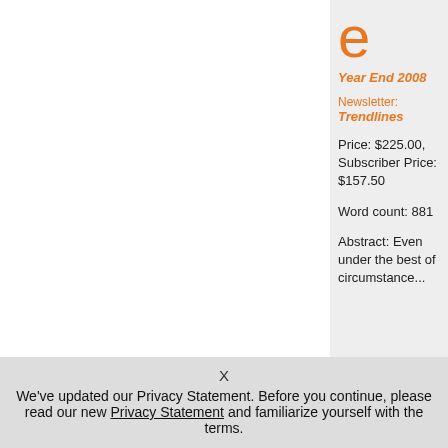e
Year End 2008
Newsletter: Trendlines
Price: $225.00, Subscriber Price: $157.50
Word count: 881
Abstract: Even under the best of circumstance...
X
We've updated our Privacy Statement. Before you continue, please read our new Privacy Statement and familiarize yourself with the terms.